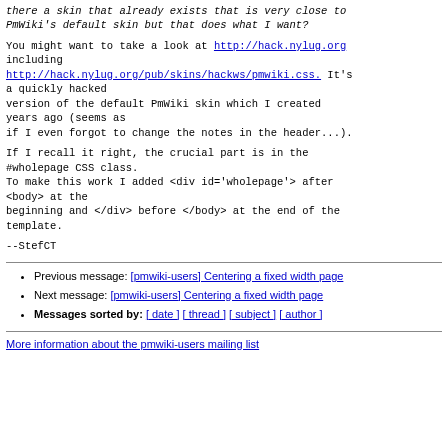there a skin that already exists that is very close to PmWiki's default skin but that does what I want?
You might want to take a look at http://hack.nylug.org including http://hack.nylug.org/pub/skins/hackws/pmwiki.css. It's a quickly hacked version of the default PmWiki skin which I created years ago (seems as if I even forgot to change the notes in the header...).
If I recall it right, the crucial part is in the #wholepage CSS class. To make this work I added <div id='wholepage'> after <body> at the beginning and </div> before </body> at the end of the template.
--StefCT
Previous message: [pmwiki-users] Centering a fixed width page
Next message: [pmwiki-users] Centering a fixed width page
Messages sorted by: [ date ] [ thread ] [ subject ] [ author ]
More information about the pmwiki-users mailing list